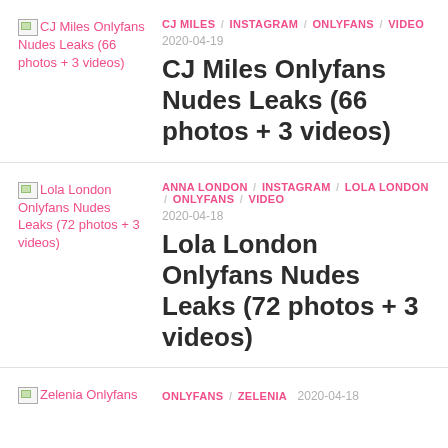[Figure (photo): Thumbnail image placeholder for CJ Miles Onlyfans Nudes Leaks (66 photos + 3 videos)]
CJ MILES / INSTAGRAM / ONLYFANS / VIDEO
2020-04-19
CJ Miles Onlyfans Nudes Leaks (66 photos + 3 videos)
[Figure (photo): Thumbnail image placeholder for Lola London Onlyfans Nudes Leaks (72 photos + 3 videos)]
ANNA LONDON / INSTAGRAM / LOLA LONDON / ONLYFANS / VIDEO
2020-04-18
Lola London Onlyfans Nudes Leaks (72 photos + 3 videos)
[Figure (photo): Thumbnail image placeholder for Zelenia Onlyfans]
ONLYFANS / ZELENIA  2020-04-18